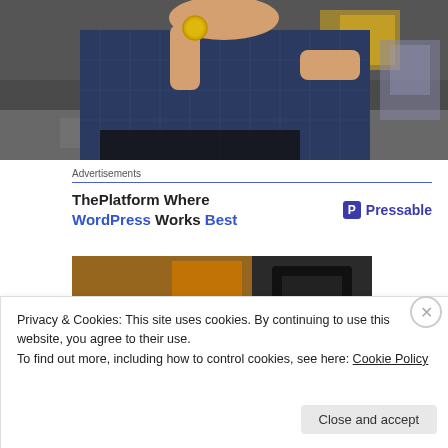[Figure (photo): A man in a blue plaid shirt holding up a gold coin at what appears to be an airport terminal]
Advertisements
[Figure (infographic): Advertisement for Pressable: 'ThePlatform Where WordPress Works Best' with Pressable logo]
[Figure (photo): Partial photo of a person using a card payment terminal]
Privacy & Cookies: This site uses cookies. By continuing to use this website, you agree to their use.
To find out more, including how to control cookies, see here: Cookie Policy
Close and accept